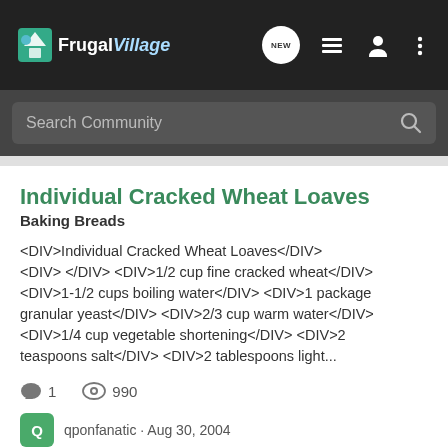FrugalVillage
Search Community
Individual Cracked Wheat Loaves
Baking Breads
<DIV>Individual Cracked Wheat Loaves</DIV> <DIV> </DIV> <DIV>1/2 cup fine cracked wheat</DIV> <DIV>1-1/2 cups boiling water</DIV> <DIV>1 package granular yeast</DIV> <DIV>2/3 cup warm water</DIV> <DIV>1/4 cup vegetable shortening</DIV> <DIV>2 teaspoons salt</DIV> <DIV>2 tablespoons light...
1  990
qponfanatic · Aug 30, 2004
cracked
individual
loaves
wheat